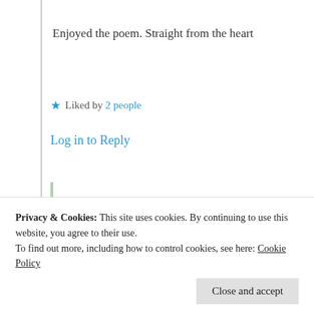Enjoyed the poem. Straight from the heart
★ Liked by 2 people
Log in to Reply
Suma Reddy
7th Jul 2021 at 2:27 am
Privacy & Cookies: This site uses cookies. By continuing to use this website, you agree to their use.
To find out more, including how to control cookies, see here: Cookie Policy
Close and accept